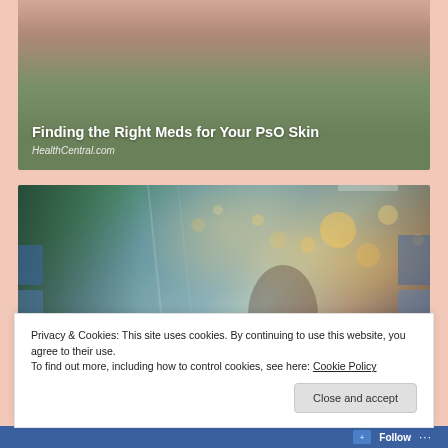[Figure (photo): Close-up photo of skin/hand with text overlay showing article title 'Finding the Right Meds for Your PsO Skin' and source 'HealthCentral.com']
Finding the Right Meds for Your PsO Skin
HealthCentral.com
[Figure (photo): Woman browsing products in a retail store aisle with bokeh lights in the background]
Privacy & Cookies: This site uses cookies. By continuing to use this website, you agree to their use.
To find out more, including how to control cookies, see here: Cookie Policy
Close and accept